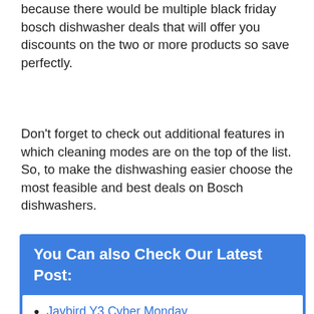because there would be multiple black friday bosch dishwasher deals that will offer you discounts on the two or more products so save perfectly.
Don't forget to check out additional features in which cleaning modes are on the top of the list. So, to make the dishwashing easier choose the most feasible and best deals on Bosch dishwashers.
You Can also Check Our Latest Post:
Jaybird Y3 Cyber Monday